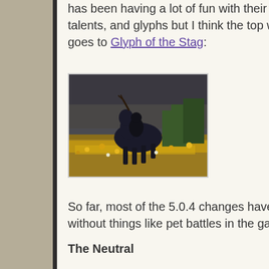has been having a lot of fun with their various class abilities, talents, and glyphs but I think the top winner of “most fun” goes to Glyph of the Stag:
[Figure (photo): A character riding a dark horse/stag mount in a game environment with golden flowers and dark stormy sky.]
So far, most of the 5.0.4 changes have been really fun, even without things like pet battles in the game yet.
The Neutral